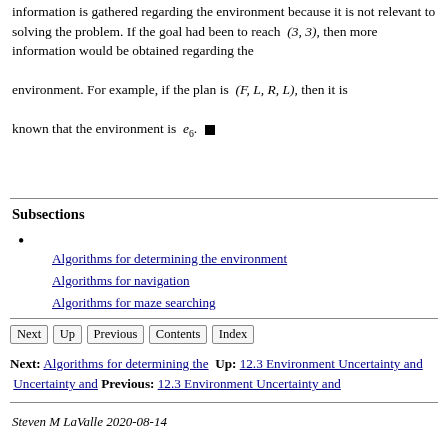information is gathered regarding the environment because it is not relevant to solving the problem. If the goal had been to reach (3,3), then more information would be obtained regarding the environment. For example, if the plan is (F, L, R, L), then it is known that the environment is e_6. ■
Subsections
•
Algorithms for determining the environment
Algorithms for navigation
Algorithms for maze searching
Next | Up | Previous | Contents | Index
Next: Algorithms for determining the  Up: 12.3 Environment Uncertainty and  Previous: 12.3 Environment Uncertainty and
Steven M LaValle 2020-08-14